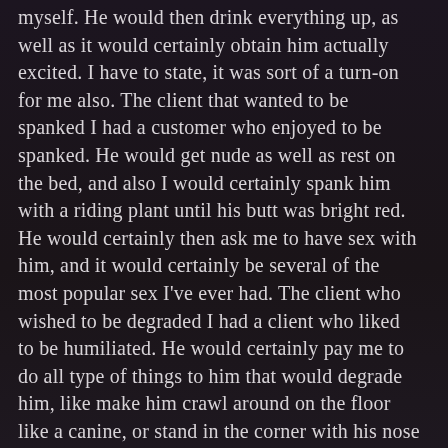myself. He would then drink everything up, as well as it would certainly obtain him actually excited. I have to state, it was sort of a turn-on for me also. The client that wanted to be spanked I had a customer who enjoyed to be spanked. He would get nude as well as rest on the bed, and also I would certainly spank him with a riding plant until his butt was bright red. He would certainly then ask me to have sex with him, and it would certainly be several of the most popular sex I've ever had. The client who wished to be degraded I had a client who liked to be humiliated. He would certainly pay me to do all type of things to him that would degrade him, like make him crawl around on the floor like a canine, or stand in the corner with his nose up against the wall. He would obtain so switched on by it that he would certainly be asking me to have sex with him within minutes.
The client that wanted to be controlled I had a client who loved to be controlled. He would certainly pay me to link